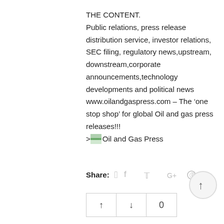THE CONTENT.
Public relations, press release distribution service, investor relations, SEC filing, regulatory news,upstream, downstream,corporate announcements,technology developments and political news www.oilandgaspress.com – The 'one stop shop' for global Oil and gas press releases!!!
>Oil and Gas Press
Share:
[Figure (infographic): Social share icons: Facebook, Twitter, Google+, Pinterest in light gray]
[Figure (other): Scroll-to-top circular button with upward arrow]
| ↑ | ↓ | 0 |
| --- | --- | --- |